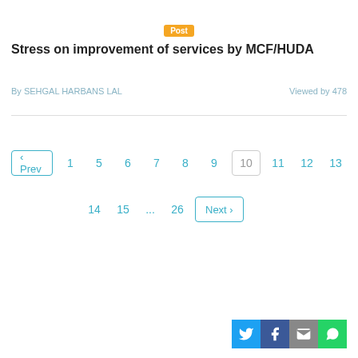Post
Stress on improvement of services by MCF/HUDA
By SEHGAL HARBANS LAL   Viewed by 478
‹ Prev   1   5   6   7   8   9   10   11   12   13   14   15   ...   26   Next ›